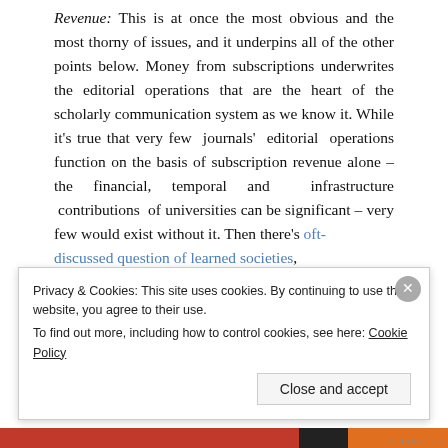Revenue: This is at once the most obvious and the most thorny of issues, and it underpins all of the other points below. Money from subscriptions underwrites the editorial operations that are the heart of the scholarly communication system as we know it. While it's true that very few journals' editorial operations function on the basis of subscription revenue alone – the financial, temporal and infrastructure contributions of universities can be significant – very few would exist without it. Then there's oft-discussed question of learned societies, many of whom fund their diverse...
Privacy & Cookies: This site uses cookies. By continuing to use this website, you agree to their use. To find out more, including how to control cookies, see here: Cookie Policy
Close and accept